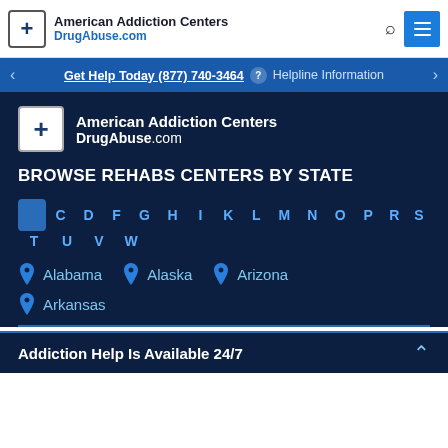American Addiction Centers DrugAbuse.com
Get Help Today (877) 740-3464 ? Helpline Information
[Figure (logo): American Addiction Centers DrugAbuse.com logo with cross icon]
BROWSE REHABS CENTERS BY STATE
A C D F G H I K L M N O P R S T U V W
Alabama
Alaska
Arizona
Arkansas
Addiction Help Is Available 24/7